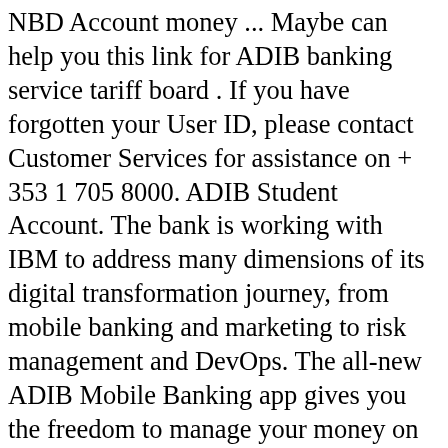NBD Account money ... Maybe can help you this link for ADIB banking service tariff board . If you have forgotten your User ID, please contact Customer Services for assistance on + 353 1 705 8000. ADIB Student Account. The bank is working with IBM to address many dimensions of its digital transformation journey, from mobile banking and marketing to risk management and DevOps. The all-new ADIB Mobile Banking app gives you the freedom to manage your money on the go. Paperless Explore a world of banking opportunities with smarter solutions designed to optimize your every experience, no matter where you are. Weâ€™ve built a bank on new ideas that came from peopâ€¦ Join smartbanking today, pick a card design that fits you and just sit back and relax. First released in 2001 and regularly updated since then, Money Smart has a long track record of success. Enjoy efficient, convenient banking products and great value-added services. Visit our website for more details. ADIB.